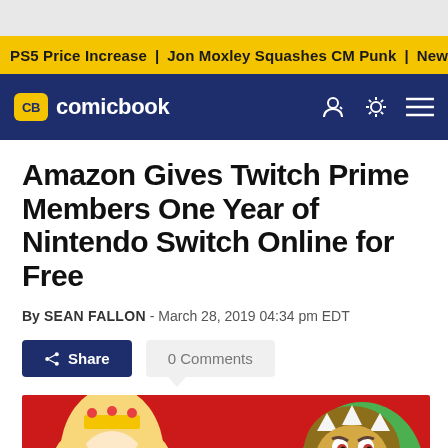PS5 Price Increase | Jon Moxley Squashes CM Punk | New G...
[Figure (logo): ComicBook.com logo — CB badge in yellow with navy nav bar, user/light/menu icons]
Amazon Gives Twitch Prime Members One Year of Nintendo Switch Online for Free
By SEAN FALLON - March 28, 2019 04:34 pm EDT
Share  0 Comments
[Figure (photo): Nintendo Switch promotional image on red background showing Princess Peach, Mario (red M cap), and Bowser characters]